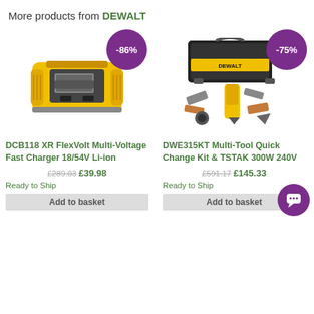More products from DEWALT
[Figure (photo): DEWALT DCB118 XR FlexVolt Multi-Voltage Fast Charger product image with -86% discount badge]
DCB118 XR FlexVolt Multi-Voltage Fast Charger 18/54V Li-ion
£289.03  £39.98
Ready to Ship
Add to basket
[Figure (photo): DEWALT DWE315KT Multi-Tool Quick Change Kit & TSTAK product image with -75% discount badge]
DWE315KT Multi-Tool Quick Change Kit & TSTAK 300W 240V
£591.17  £145.33
Ready to Ship
Add to basket